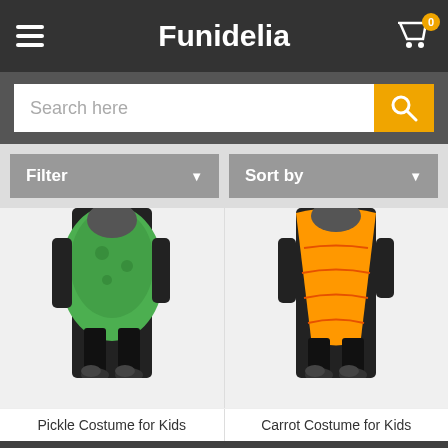Funidelia
Search here
Filter
Sort by
[Figure (photo): Child wearing a green pickle costume (tubular green inflatable suit) with black leggings and sneakers, shown from the torso down]
Pickle Costume for Kids
[Figure (photo): Child wearing an orange carrot costume (tubular orange inflatable suit) with black leggings and sneakers, shown from the torso down]
Carrot Costume for Kids
BHR 1,399.00
BHR 1,399.00
We use our own and third party cookies in order to offer you a better service. You accept that by staying at our site. More info